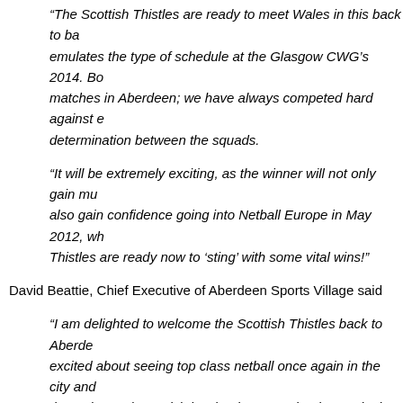“The Scottish Thistles are ready to meet Wales in this back to ba… emulates the type of schedule at the Glasgow CWG’s 2014. Bo… matches in Aberdeen; we have always competed hard against e… determination between the squads.
“It will be extremely exciting, as the winner will not only gain mu… also gain confidence going into Netball Europe in May 2012, wh… Thistles are ready now to ‘sting’ with some vital wins!"
David Beattie, Chief Executive of Aberdeen Sports Village said
“I am delighted to welcome the Scottish Thistles back to Aberde… excited about seeing top class netball once again in the city and… they take on the Welsh in what is sure to be three gripping matc… provide some excellent support for the Thistles and thoroughly e… the Commonwealth Games in 2014.”
All 3 matches will be at the Aberdeen Sports Village from 9th – 11th … and £3 per child or there is a weekend pass for £12 for adults and £7…